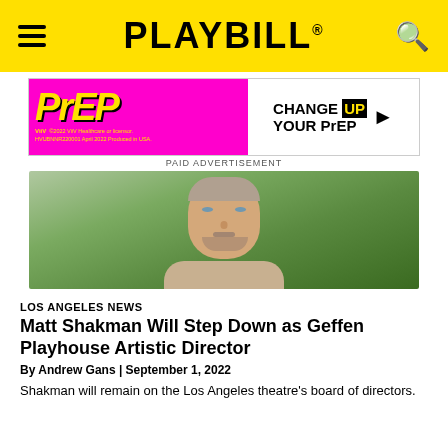PLAYBILL
[Figure (photo): Advertisement banner for PrEP medication: 'CHANGE UP YOUR PrEP' with magenta background and yellow text]
PAID ADVERTISEMENT
[Figure (photo): Headshot of Matt Shakman, a man with short hair and beard, smiling outdoors with green foliage in background]
LOS ANGELES NEWS
Matt Shakman Will Step Down as Geffen Playhouse Artistic Director
By Andrew Gans | September 1, 2022
Shakman will remain on the Los Angeles theatre's board of directors.